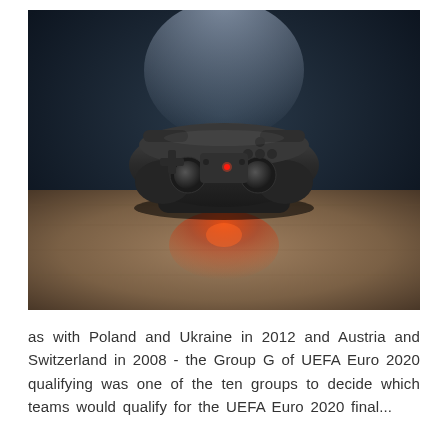[Figure (photo): A dark game controller (likely a PlayStation DualShock) resting on a wooden surface with a glowing red LED light visible on the controller and a red light reflection on the surface below. The background is dark and slightly blurred.]
as with Poland and Ukraine in 2012 and Austria and Switzerland in 2008 - the Group G of UEFA Euro 2020 qualifying was one of the ten groups to decide which teams would qualify for the UEFA Euro 2020 final...